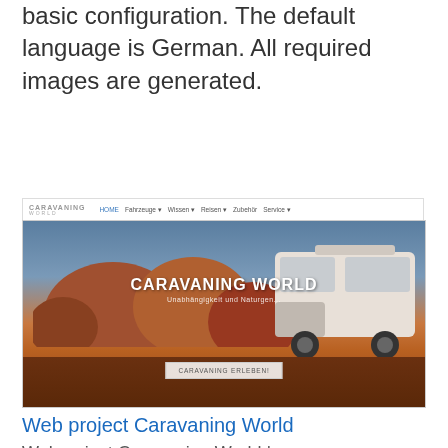basic configuration. The default language is German. All required images are generated.
Weitere Infos zur Website
[Figure (screenshot): Screenshot of the Caravaning World website showing a navigation bar with logo and menu items (Home, Fahrzeuge, Wissen, Reisen, Zubehör, Service), and a hero image featuring a white motorhome/truck camper parked in an Australian outback landscape with red rocks and brown grass, overlaid with the text 'CARAVANING WORLD' and 'Unabhängigkeit und Naturgen...' and a 'CARAVANING ERLEBEN!' button.]
Web project Caravaning World
Webproject Caravaning World |